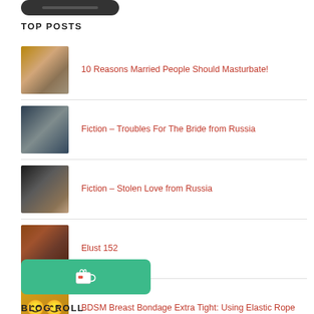[Figure (other): Dark rounded button/logo at top of sidebar]
TOP POSTS
10 Reasons Married People Should Masturbate!
Fiction – Troubles For The Bride from Russia
Fiction – Stolen Love from Russia
Elust 152
BDSM Breast Bondage Extra Tight: Using Elastic Rope
[Figure (other): Buy Me a Coffee button - teal/green rounded rectangle with coffee cup icon]
BLOG ROLL